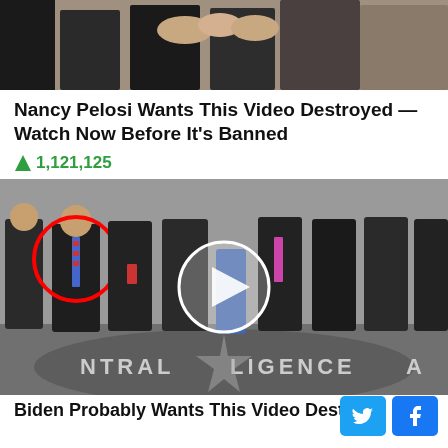[Figure (photo): Cropped photo showing people shaking hands at the top of the page]
Nancy Pelosi Wants This Video Destroyed — Watch Now Before It's Banned
🔥 1,121,125
[Figure (photo): Group photo taken at CIA headquarters lobby showing several figures in suits, one circled in red on the left, with a video play button overlay in the center]
Biden Probably Wants This Video Destr...